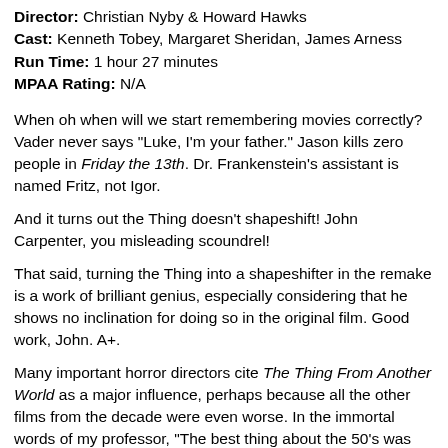Director: Christian Nyby & Howard Hawks
Cast: Kenneth Tobey, Margaret Sheridan, James Arness
Run Time: 1 hour 27 minutes
MPAA Rating: N/A
When oh when will we start remembering movies correctly? Vader never says "Luke, I'm your father." Jason kills zero people in Friday the 13th. Dr. Frankenstein's assistant is named Fritz, not Igor.
And it turns out the Thing doesn't shapeshift! John Carpenter, you misleading scoundrel!
That said, turning the Thing into a shapeshifter in the remake is a work of brilliant genius, especially considering that he shows no inclination for doing so in the original film. Good work, John. A+.
Many important horror directors cite The Thing From Another World as a major influence, perhaps because all the other films from the decade were even worse. In the immortal words of my professor, "The best thing about the 50's was